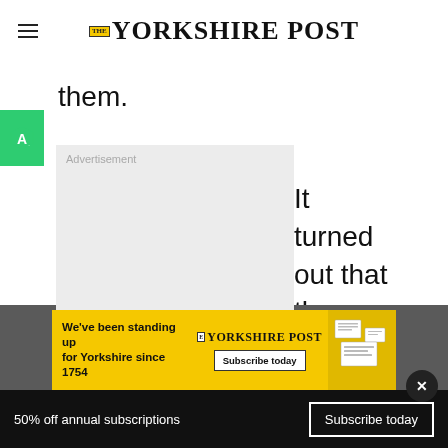The Yorkshire Post
them.
[Figure (other): Advertisement placeholder box with label 'Advertisement']
It turned out that the
[Figure (other): Yorkshire Post subscription banner: 'We've been standing up for Yorkshire since 1754' with Subscribe today button and logo]
50% off annual subscriptions  Subscribe today